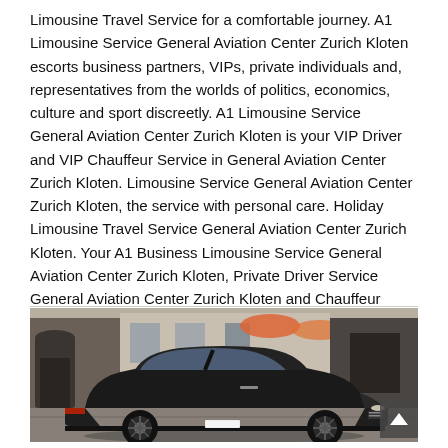Limousine Travel Service for a comfortable journey. A1 Limousine Service General Aviation Center Zurich Kloten escorts business partners, VIPs, private individuals and, representatives from the worlds of politics, economics, culture and sport discreetly. A1 Limousine Service General Aviation Center Zurich Kloten is your VIP Driver and VIP Chauffeur Service in General Aviation Center Zurich Kloten. Limousine Service General Aviation Center Zurich Kloten, the service with personal care. Holiday Limousine Travel Service General Aviation Center Zurich Kloten. Your A1 Business Limousine Service General Aviation Center Zurich Kloten, Private Driver Service General Aviation Center Zurich Kloten and Chauffeur Service General Aviation Center Zurich Kloten.
[Figure (photo): A black luxury sedan (Mercedes-Benz S-Class) parked on a street in front of an upscale building with flowers and archways visible in the background.]